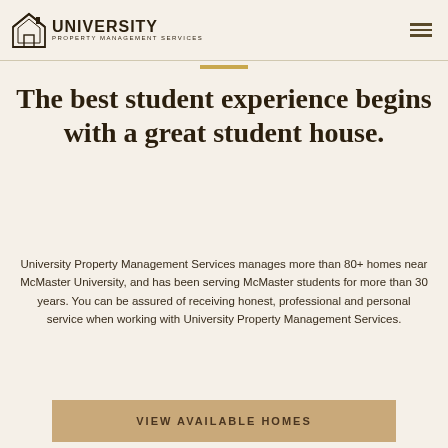University Property Management Services
The best student experience begins with a great student house.
University Property Management Services manages more than 80+ homes near McMaster University, and has been serving McMaster students for more than 30 years. You can be assured of receiving honest, professional and personal service when working with University Property Management Services.
VIEW AVAILABLE HOMES